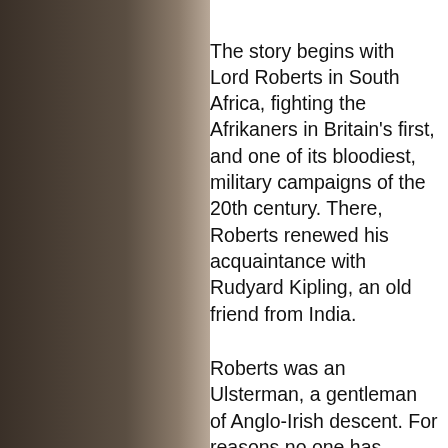The story begins with Lord Roberts in South Africa, fighting the Afrikaners in Britain's first, and one of its bloodiest, military campaigns of the 20th century. There, Roberts renewed his acquaintance with Rudyard Kipling, an old friend from India.

Roberts was an Ulsterman, a gentleman of Anglo-Irish descent. For reasons no one has adequately explained, Ulster (Northern Ireland) has produced a disproportionate number of great British generals. The Duke of Wellington was an Ulsterman, as was Montgomery, among many others. In the South African campaign, the army's